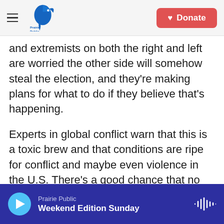Prairie Public | Donate
and extremists on both the right and left are worried the other side will somehow steal the election, and they're making plans for what to do if they believe that's happening.
Experts in global conflict warn that this is a toxic brew and that conditions are ripe for conflict and maybe even violence in the U.S. There's a good chance that no clear winner will emerge on election night, and experts are concerned about what will happen after that — especially if protesters and counterprotesters collide in the streets.
Several human rights and conflict resolution groups
Prairie Public | Weekend Edition Sunday